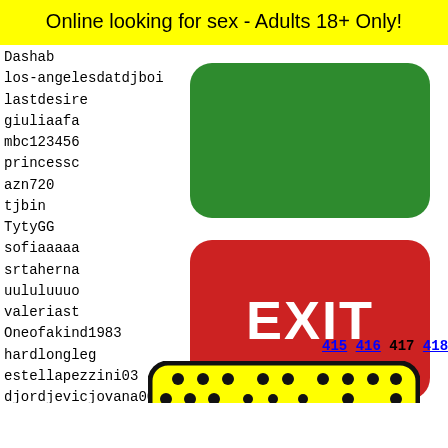Online looking for sex - Adults 18+ Only!
Dashab
los-angelesdatdjboi
lastdesire
giuliaafa
mbc123456
princessc
azn720
tjbin
TytyGG
sofiaaaaa
srtaherna
uululuuuo
valeriast
Oneofakind1983
hardlongleg
estellapezzini03
djordjevicjovana003
blackmadingo972
babyfaceash07
losiro
vilusv
Sexxy2
giulia
Kschen
christ
[Figure (other): Green button (no text)]
[Figure (other): Red EXIT button]
415 416 417 418 419
[Figure (illustration): Yellow rounded rectangle with black dots pattern and character image at bottom]